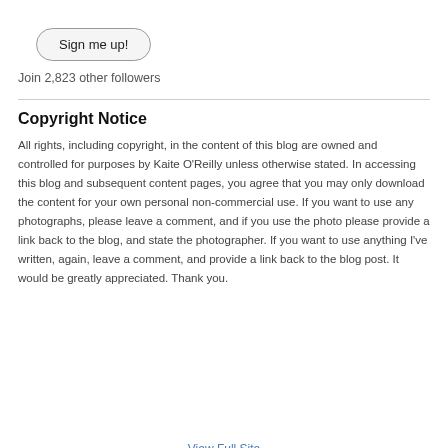[Figure (other): A rounded rectangle button labeled 'Sign me up!']
Join 2,823 other followers
Copyright Notice
All rights, including copyright, in the content of this blog are owned and controlled for purposes by Kaite O'Reilly unless otherwise stated. In accessing this blog and subsequent content pages, you agree that you may only download the content for your own personal non-commercial use. If you want to use any photographs, please leave a comment, and if you use the photo please provide a link back to the blog, and state the photographer. If you want to use anything I've written, again, leave a comment, and provide a link back to the blog post. It would be greatly appreciated. Thank you.
View Full Site